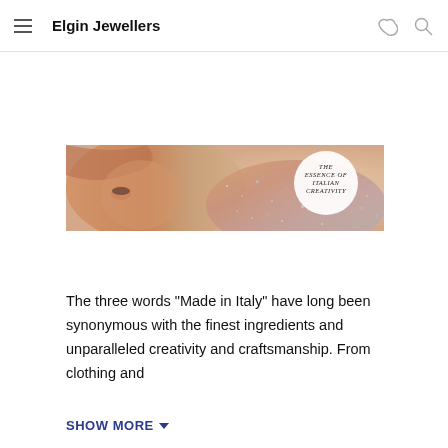Elgin Jewellers
[Figure (photo): Promotional banner image of a woman with blonde hair lying down, wearing a glittery/sparkly outfit. Text overlay reads: THE ESSENCE OF ITALIAN CREATIVITY in a circular white badge on the right side.]
The three words "Made in Italy" have long been synonymous with the finest ingredients and unparalleled creativity and craftsmanship. From clothing and
SHOW MORE